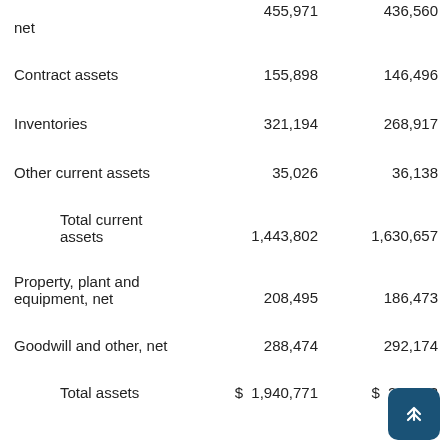|  | Col1 | Col2 |
| --- | --- | --- |
| net | 455,971 | 436,560 |
| Contract assets | 155,898 | 146,496 |
| Inventories | 321,194 | 268,917 |
| Other current assets | 35,026 | 36,138 |
| Total current assets | 1,443,802 | 1,630,657 |
| Property, plant and equipment, net | 208,495 | 186,473 |
| Goodwill and other, net | 288,474 | 292,174 |
| Total assets | $ 1,940,771 | $ 2,109,3… |